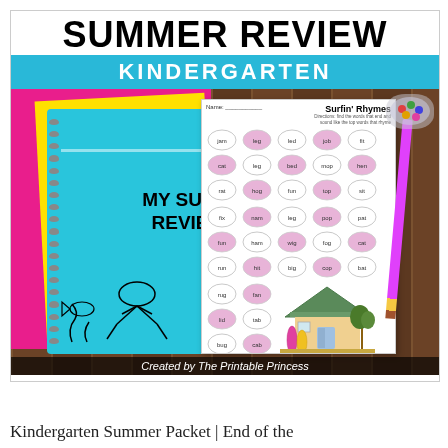[Figure (illustration): Summer Review Kindergarten educational workbook cover showing a spiral notebook with 'MY SUMMER REVIEW' text, a worksheet titled 'Surfin Rhymes' with egg-shaped word groups, a pink pencil, candy bowl, and wooden table background. Created by The Printable Princess.]
Kindergarten Summer Packet | End of the